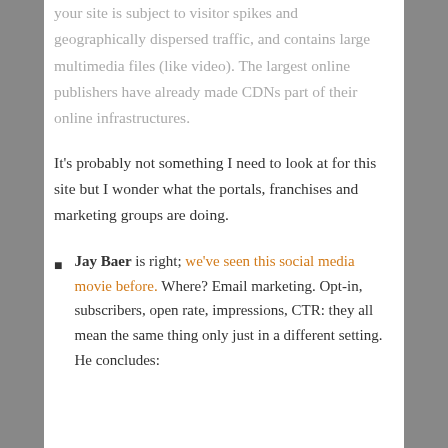your site is subject to visitor spikes and geographically dispersed traffic, and contains large multimedia files (like video). The largest online publishers have already made CDNs part of their online infrastructures.
It's probably not something I need to look at for this site but I wonder what the portals, franchises and marketing groups are doing.
Jay Baer is right; we've seen this social media movie before. Where? Email marketing. Opt-in, subscribers, open rate, impressions, CTR: they all mean the same thing only just in a different setting. He concludes: